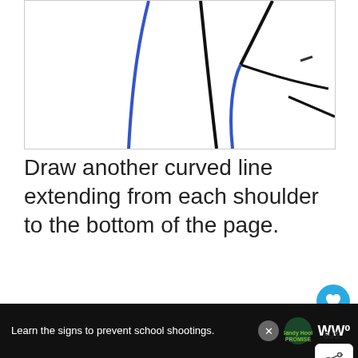[Figure (illustration): Line drawing tutorial step showing a stick figure upper body with blue curved lines for arms/shoulders and black lines for torso, viewed from behind/side angle]
Draw another curved line extending from each shoulder to the bottom of the page.
[Figure (photo): Book cover showing 'Easy Animal Drawing Tutorials - Easy Step by Step Drawing Tutorials' with a FREE badge, and a WHAT'S NEXT panel showing 'How to Draw a Cartoon Tree']
[Figure (screenshot): Advertisement bar: 'Learn the signs to prevent school shootings.' with Sandy Hook Promise logo and WW logo]